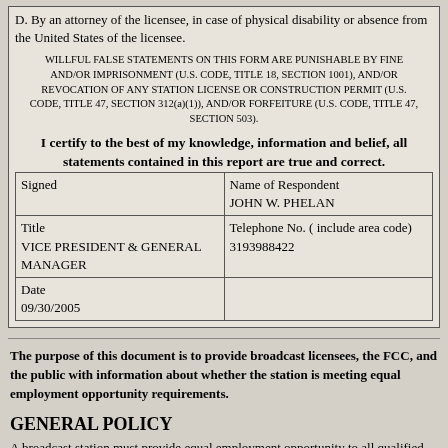D. By an attorney of the licensee, in case of physical disability or absence from the United States of the licensee.
WILLFUL FALSE STATEMENTS ON THIS FORM ARE PUNISHABLE BY FINE AND/OR IMPRISONMENT (U.S. CODE, TITLE 18, SECTION 1001), AND/OR REVOCATION OF ANY STATION LICENSE OR CONSTRUCTION PERMIT (U.S. CODE, TITLE 47, SECTION 312(a)(1)), AND/OR FORFEITURE (U.S. CODE, TITLE 47, SECTION 503).
I certify to the best of my knowledge, information and belief, all statements contained in this report are true and correct.
| Signed | Name of Respondent
JOHN W. PHELAN |
| Title
VICE PRESIDENT & GENERAL MANAGER | Telephone No. ( include area code)
3193988422 |
| Date
09/30/2005 |  |
The purpose of this document is to provide broadcast licensees, the FCC, and the public with information about whether the station is meeting equal employment opportunity requirements.
GENERAL POLICY
A broadcast station must provide equal employment opportunity to all qualified individuals without regard to their race, color, national origin, religion or sex in all personnel actions including recruitment, evaluation, selection, promotion,